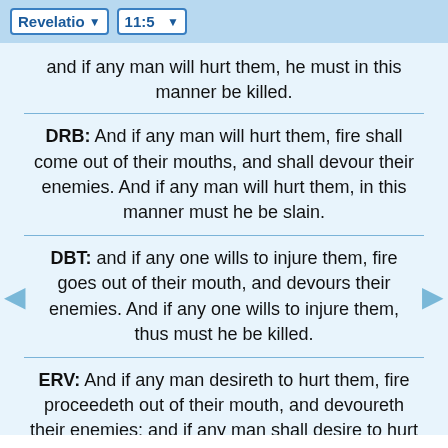Revelation 11:5
and if any man will hurt them, he must in this manner be killed.
DRB:  And if any man will hurt them, fire shall come out of their mouths, and shall devour their enemies. And if any man will hurt them, in this manner must he be slain.
DBT:  and if any one wills to injure them, fire goes out of their mouth, and devours their enemies. And if any one wills to injure them, thus must he be killed.
ERV:  And if any man desireth to hurt them, fire proceedeth out of their mouth, and devoureth their enemies: and if any man shall desire to hurt them, in this manner must he be killed.
WBT:  And if any man will hurt them, fire proceedeth